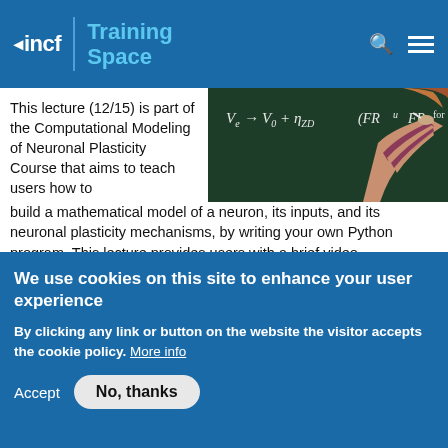incf | Training Space
[Figure (photo): Person writing a mathematical formula on a chalkboard: V_e → V_0 + n_zD (FR...)]
This lecture (12/15) is part of the Computational Modeling of Neuronal Plasticity Course that aims to teach users how to build a mathematical model of a neuron, its inputs, and its neuronal plasticity mechanisms, by writing your own Python program. This lecture provides users with a brief video
We use cookies on this site to enhance your user experience
By clicking any link or button on the website the visitor accepts the cookie policy. More info
Accept
No, thanks